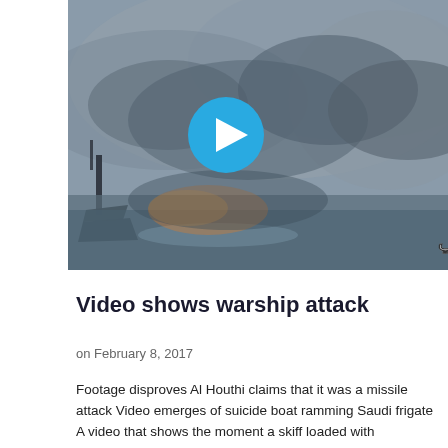[Figure (screenshot): Video thumbnail showing a warship being attacked with smoke and fire visible on the water. A blue circular play button is overlaid in the center-left area. Arabic text 'الإعلام الحربي' appears in the bottom-right corner of the image.]
Video shows warship attack
on February 8, 2017
Footage disproves Al Houthi claims that it was a missile attack Video emerges of suicide boat ramming Saudi frigate A video that shows the moment a skiff loaded with